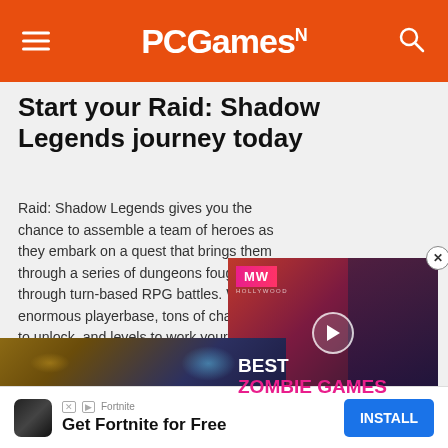PCGamesN
Start your Raid: Shadow Legends journey today
Raid: Shadow Legends gives you the chance to assemble a team of heroes as they embark on a quest that brings them through a series of dungeons fought through turn-based RPG battles. With an enormous playerbase, tons of champions to unlock, and levels to work your way through, you're going to want to be prepared before taking the game for a spin:
[Figure (screenshot): Video player overlay showing 'BEST ZOMBIE GAMES' with MW logo badge and play button, overlapping the article text]
[Figure (screenshot): Partial game screenshot at bottom showing Raid: Shadow Legends artwork with brown and blue tones and glowing effects]
[Figure (infographic): Advertisement banner for Fortnite: 'Get Fortnite for Free' with INSTALL button]